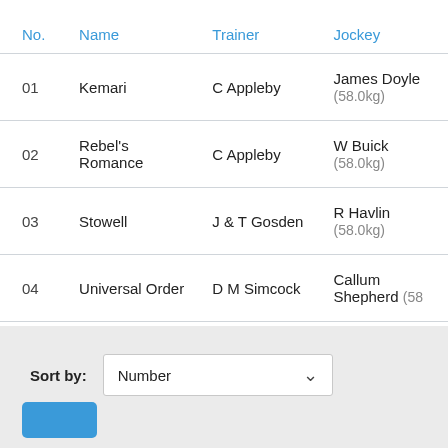| No. | Name | Trainer | Jockey |
| --- | --- | --- | --- |
| 01 | Kemari | C Appleby | James Doyle (58.0kg) |
| 02 | Rebel's Romance | C Appleby | W Buick (58.0kg) |
| 03 | Stowell | J & T Gosden | R Havlin (58.0kg) |
| 04 | Universal Order | D M Simcock | Callum Shepherd (58… |
| 05 | Something Enticing | A M Balding | Jim Crowley (56.0kg) |
Sort by: Number